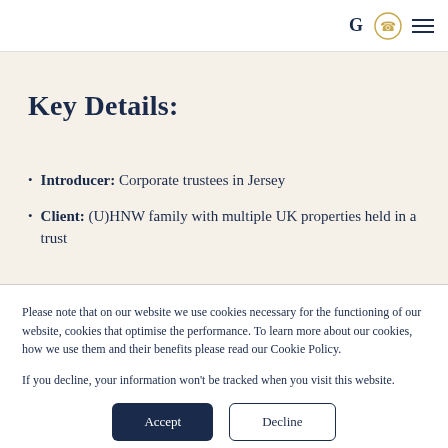G [phone icon] [menu icon]
Key Details:
Introducer: Corporate trustees in Jersey
Client: (U)HNW family with multiple UK properties held in a trust
Please note that on our website we use cookies necessary for the functioning of our website, cookies that optimise the performance. To learn more about our cookies, how we use them and their benefits please read our Cookie Policy.
If you decline, your information won't be tracked when you visit this website.